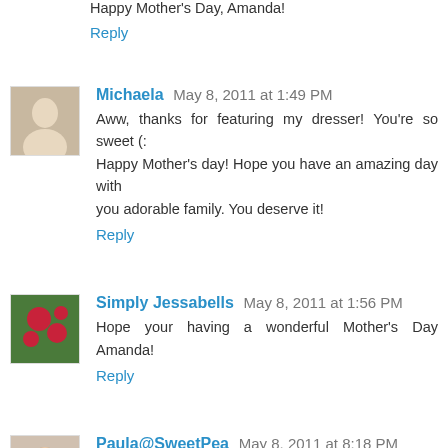Happy Mother's Day, Amanda!
Reply
Michaela  May 8, 2011 at 1:49 PM
Aww, thanks for featuring my dresser! You're so sweet (: Happy Mother's day! Hope you have an amazing day with you adorable family. You deserve it!
Reply
Simply Jessabells  May 8, 2011 at 1:56 PM
Hope your having a wonderful Mother's Day Amanda!
Reply
Paula@SweetPea  May 8, 2011 at 8:18 PM
This my be a repeat as I got an error with my first try. I hope you had a very nice Mother's Day and I also hope that T. came home from work with a nice gift for you.